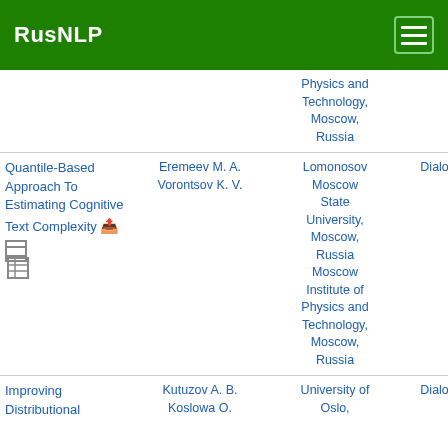RusNLP
| Title | Authors | Affiliation | Venue | Year |
| --- | --- | --- | --- | --- |
|  |  | Physics and Technology, Moscow, Russia | Dialogue | 20... |
| Quantile-Based Approach To Estimating Cognitive Text Complexity | Eremeev M. A.
Vorontsov K. V. | Lomonosov Moscow State University, Moscow, Russia
Moscow Institute of Physics and Technology, Moscow, Russia | Dialogue | 20... |
| Improving Distributional | Kutuzov A. B.
Koslowa O. | University of Oslo, | Dialogue | 20... |